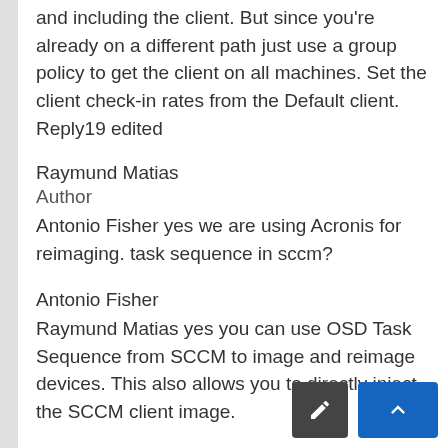and including the client. But since you're already on a different path just use a group policy to get the client on all machines. Set the client check-in rates from the Default client.
Reply19 edited
Raymund Matias
Author
Antonio Fisher yes we are using Acronis for reimaging. task sequence in sccm?
Antonio Fisher
Raymund Matias yes you can use OSD Task Sequence from SCCM to image and reimage devices. This also allows you to directly inject the SCCM client [into the] image.